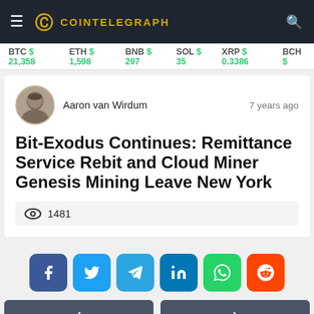COINTELEGRAPH
BTC $21,358   ETH $1,598   BNB $297   SOL $35   XRP $0.3386   BCH $...
Aaron van Wirdum   7 years ago
Bit-Exodus Continues: Remittance Service Rebit and Cloud Miner Genesis Mining Leave New York
1481
[Figure (infographic): Social share buttons: Facebook, Twitter, Telegram, LinkedIn, WhatsApp, Reddit]